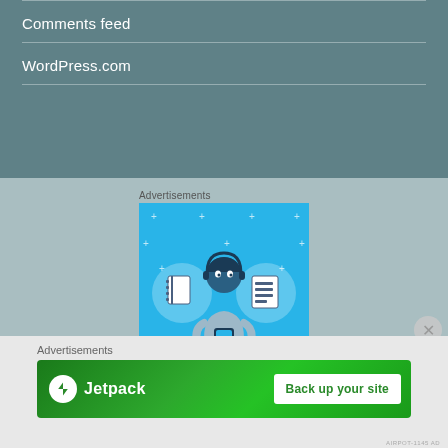Comments feed
WordPress.com
Advertisements
[Figure (illustration): Day One app advertisement on bright blue background. Shows three circular icons: a notebook, a person holding a phone, and a list/document. Text reads 'DAY ONE' in spaced letters at the bottom.]
Advertisements
[Figure (illustration): Jetpack advertisement banner. Green gradient background with Jetpack lightning bolt logo on left and white button reading 'Back up your site' on right.]